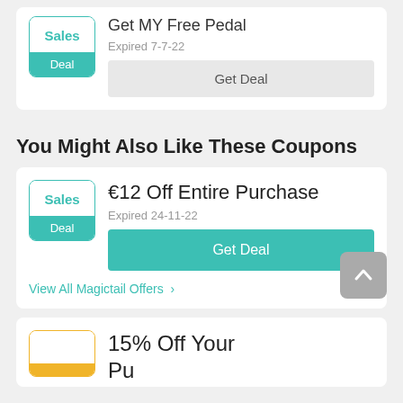[Figure (other): Sales Deal badge with teal border, top white section with 'Sales' in teal, bottom teal section with 'Deal' in white]
Get MY Free Pedal
Expired 7-7-22
Get Deal
You Might Also Like These Coupons
[Figure (other): Sales Deal badge with teal border, top white section with 'Sales' in teal, bottom teal section with 'Deal' in white]
€12 Off Entire Purchase
Expired 24-11-22
Get Deal
View All Magictail Offers >
15% Off Your Purchase